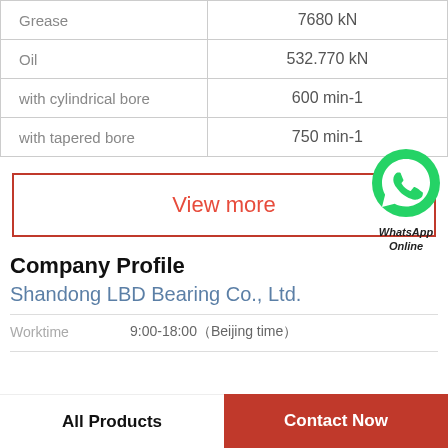|  |  |
| --- | --- |
| Grease | 7680 kN |
| Oil | 532.770 kN |
| with cylindrical bore | 600 min-1 |
| with tapered bore | 750 min-1 |
View more
[Figure (logo): WhatsApp green phone icon with label 'WhatsApp Online']
Company Profile
Shandong LBD Bearing Co., Ltd.
Worktime   9:00-18:00（Beijing time）
All Products   Contact Now